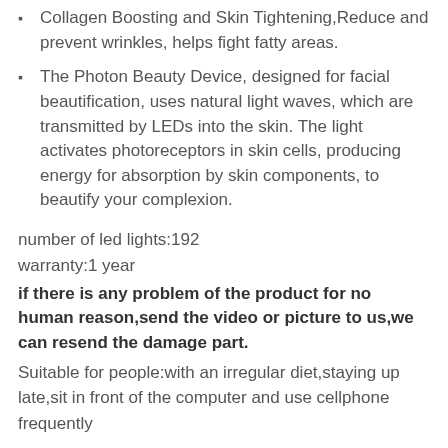Collagen Boosting and Skin Tightening,Reduce and prevent wrinkles, helps fight fatty areas.
The Photon Beauty Device, designed for facial beautification, uses natural light waves, which are transmitted by LEDs into the skin. The light activates photoreceptors in skin cells, producing energy for absorption by skin components, to beautify your complexion.
number of led lights:192
warranty:1 year
if there is any problem of the product for no human reason,send the video or picture to us,we can resend the damage part.
Suitable for people:with an irregular diet,staying up late,sit in front of the computer and use cellphone frequently